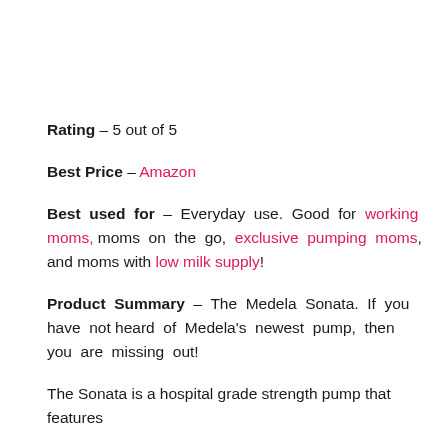Rating – 5 out of 5
Best Price – Amazon
Best used for – Everyday use. Good for working moms, moms on the go, exclusive pumping moms, and moms with low milk supply!
Product Summary – The Medela Sonata. If you have not heard of Medela's newest pump, then you are missing out!
The Sonata is a hospital grade strength pump that features